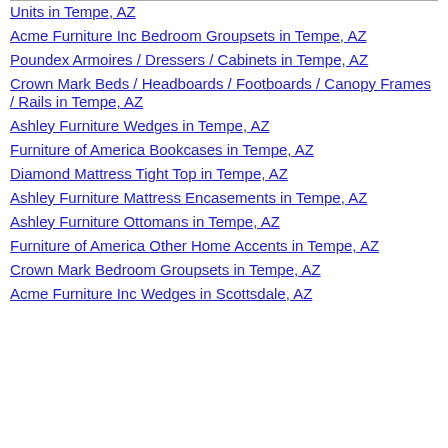Units in Tempe, AZ
Acme Furniture Inc Bedroom Groupsets in Tempe, AZ
Poundex Armoires / Dressers / Cabinets in Tempe, AZ
Crown Mark Beds / Headboards / Footboards / Canopy Frames / Rails in Tempe, AZ
Ashley Furniture Wedges in Tempe, AZ
Furniture of America Bookcases in Tempe, AZ
Diamond Mattress Tight Top in Tempe, AZ
Ashley Furniture Mattress Encasements in Tempe, AZ
Ashley Furniture Ottomans in Tempe, AZ
Furniture of America Other Home Accents in Tempe, AZ
Crown Mark Bedroom Groupsets in Tempe, AZ
Acme Furniture Inc Wedges in Scottsdale, AZ